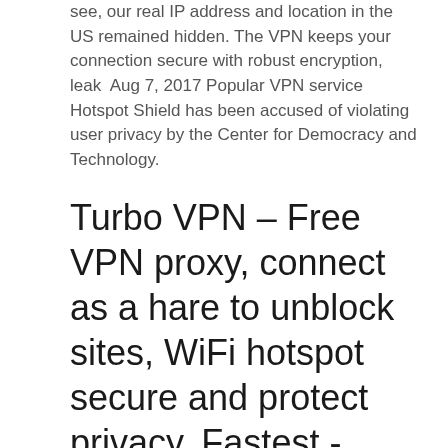see, our real IP address and location in the US remained hidden. The VPN keeps your connection secure with robust encryption, leak  Aug 7, 2017 Popular VPN service Hotspot Shield has been accused of violating user privacy by the Center for Democracy and Technology.
Turbo VPN – Free VPN proxy, connect as a hare to unblock sites, WiFi hotspot secure and protect privacy. Fastest - Connect successfully as a hare with high VPN speed. Easiest - One tap to connect to free VPN proxy server. Most Stable - Have lots of free vpn cloud proxy server to provide better net and VPN service.